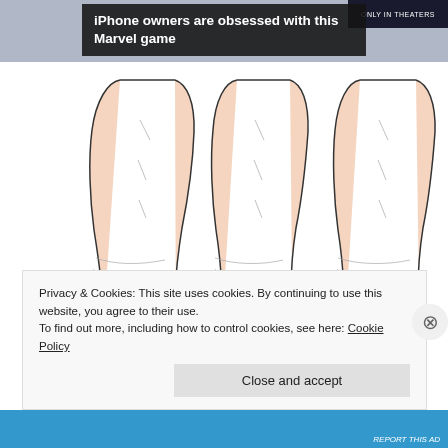[Figure (screenshot): Top banner area with advertisement overlay showing 'iPhone owners are obsessed with this Marvel game' text on dark background, and 'Only in Theaters' label on right]
[Figure (illustration): Three medical illustrations of ankle/foot anatomy showing trigger points and referred pain patterns. Left illustration shows a red pain zone at lower shin/ankle area with a trigger point dot. Middle illustration shows a trigger point dot at the ankle with no highlighted pain zone. Right illustration shows a red pain zone at the ankle/heel area with a trigger point dot.]
Privacy & Cookies: This site uses cookies. By continuing to use this website, you agree to their use.
To find out more, including how to control cookies, see here: Cookie Policy
[Figure (screenshot): Close and accept button on cookie banner, and blue advertisement strip at bottom]